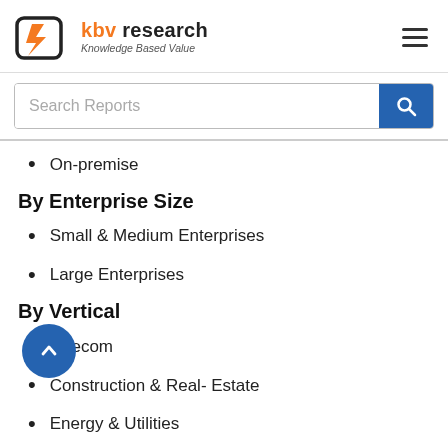KBV Research – Knowledge Based Value
On-premise
By Enterprise Size
Small & Medium Enterprises
Large Enterprises
By Vertical
Telecom
Construction & Real- Estate
Energy & Utilities
Manufacturing